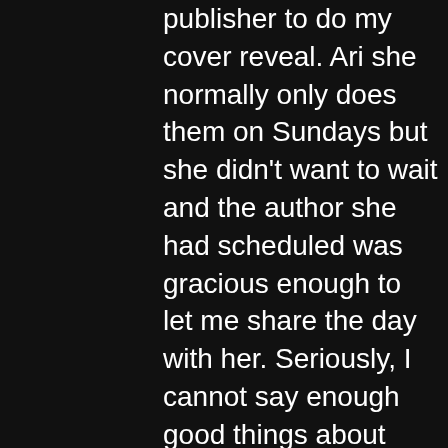publisher to do my cover reveal. Ari she normally only does them on Sundays but she didn't want to wait and the author she had scheduled was gracious enough to let me share the day with her. Seriously, I cannot say enough good things about Karin Salvalaggio's talent and kindness.
It was a great day if a little fraught at the beginning. Dru Ann was given permission to release after 8:00am so we had set the posts to go at 8:10am. Except Dru Ann and I are on the east coast and my publisher, Midnight Ink, is in Minneapolis … on central time. Which 8:00am? We erred on the side of keeping the goodwill of the publisher (who are all so amazing and I know they wouldn't be upset over